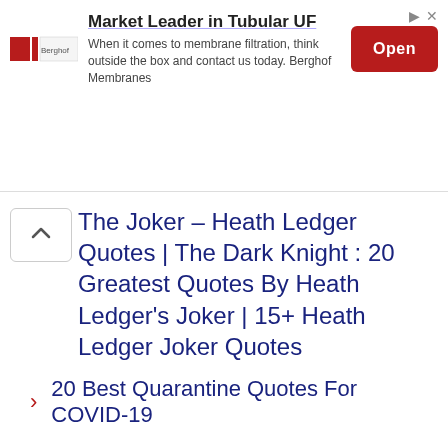[Figure (infographic): Advertisement banner for Berghof Membranes. Title: 'Market Leader in Tubular UF'. Body text: 'When it comes to membrane filtration, think outside the box and contact us today. Berghof Membranes'. Red 'Open' button on the right. Company logo on the left.]
The Joker – Heath Ledger Quotes | The Dark Knight : 20 Greatest Quotes By Heath Ledger's Joker | 15+ Heath Ledger Joker Quotes
20 Best Quarantine Quotes For COVID-19